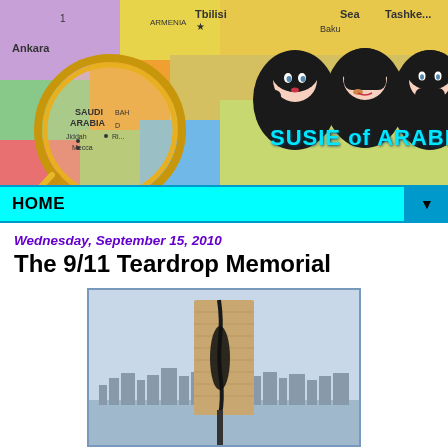[Figure (illustration): Blog header banner for 'Susie of Arabia' showing three cartoon Barbie-like dolls wearing black hijabs in a see-no-evil, hear-no-evil, speak-no-evil pose, overlaid on a colorful map of the Middle East/Central Asia region with a magnifying glass highlighting Saudi Arabia. Text reads 'SUSIE of ARABIA' in stylized cyan lettering.]
HOME
Wednesday, September 15, 2010
The 9/11 Teardrop Memorial
[Figure (photo): Photo of the 9/11 Teardrop Memorial sculpture — a large granite or stone monolith split down the middle with a dark teardrop-shaped element suspended in the crack, with the New York City skyline and water visible in the background.]